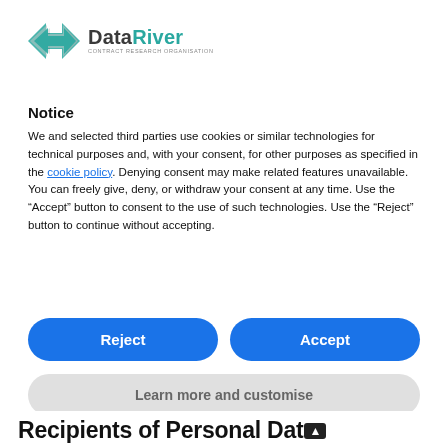[Figure (logo): DataRiver logo with teal/gray arrow icon and text 'DataRiver CONTRACT RESEARCH ORGANISATION']
Notice
We and selected third parties use cookies or similar technologies for technical purposes and, with your consent, for other purposes as specified in the cookie policy. Denying consent may make related features unavailable.
You can freely give, deny, or withdraw your consent at any time. Use the “Accept” button to consent to the use of such technologies. Use the “Reject” button to continue without accepting.
[Figure (other): Reject button (blue rounded rectangle)]
[Figure (other): Accept button (blue rounded rectangle)]
[Figure (other): Learn more and customise button (gray rounded rectangle)]
Recipients of Personal Data